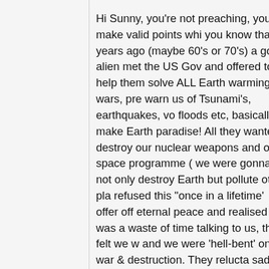Hi Sunny, you're not preaching, you make valid points whi you know that years ago (maybe 60's or 70's) a good alien met the US Gov and offered to help them solve ALL Earth warming, wars, pre warn us of Tsunami's, earthquakes, vo floods etc, basically make Earth paradise! All they wanted destroy our nuclear weapons and our space programme ( we were gonna not only destroy Earth but pollute other pla refused this "once in a lifetime' offer off eternal peace and realised it was a waste of time talking to us, they felt we w and we were 'hell-bent' on war & destruction. They relucta sad for our future. As if that wasnt bad enough, another ET with US Gov. This was the 'Greys', they heard about us re Nukes and the Greys knew we were primitive and immatu Technology we could only dream of!! In return all they war humans per year, (they had to ask permition because the technology to 'bring down' the Greys craft!)the abductions innocent harmless scientific experiments on us and return became known as the 'GREAT DECEPTION'!! The Greys